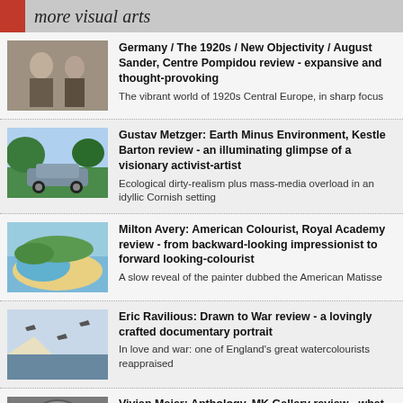more visual arts
Germany / The 1920s / New Objectivity / August Sander, Centre Pompidou review - expansive and thought-provoking | The vibrant world of 1920s Central Europe, in sharp focus
Gustav Metzger: Earth Minus Environment, Kestle Barton review - an illuminating glimpse of a visionary activist-artist | Ecological dirty-realism plus mass-media overload in an idyllic Cornish setting
Milton Avery: American Colourist, Royal Academy review - from backward-looking impressionist to forward looking-colourist | A slow reveal of the painter dubbed the American Matisse
Eric Ravilious: Drawn to War review - a lovingly crafted documentary portrait | In love and war: one of England’s great watercolourists reappraised
Vivian Maier: Anthology, MK Gallery review - what an amazing eye! | The brilliance of an amateur photographer who was almost lost